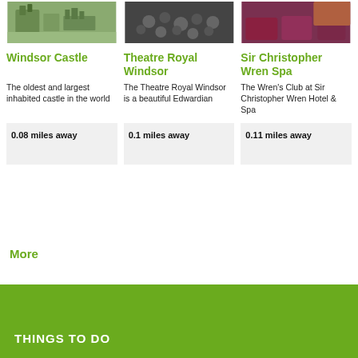[Figure (photo): Photo of Windsor Castle exterior with towers and trees]
[Figure (photo): Black and white photo of theatre audience]
[Figure (photo): Photo of hotel spa lounge with purple furniture]
Windsor Castle
Theatre Royal Windsor
Sir Christopher Wren Spa
The oldest and largest inhabited castle in the world
The Theatre Royal Windsor is a beautiful Edwardian
The Wren's Club at Sir Christopher Wren Hotel & Spa
0.08 miles away
0.1 miles away
0.11 miles away
More
THINGS TO DO